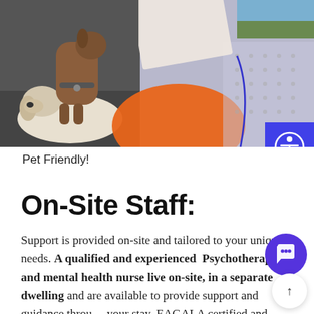[Figure (photo): Top banner area showing a dog photo on the left (white/tan dog lying down with another dog standing behind, on asphalt), decorative orange blob shape in the center, and a grey background with dotted pattern and a partial outdoor photo on the right side. A purple/blue accessibility icon button is overlaid on the right edge.]
Pet Friendly!
On-Site Staff:
Support is provided on-site and tailored to your unique needs. A qualified and experienced Psychotherapist and mental health nurse live on-site, in a separate dwelling, and are available to provide support and guidance through your stay. EAGALA certified and CMHN (credentialed mental health nurse) and ACC accredited therapist (Australian association of counselling).   Before you arrive